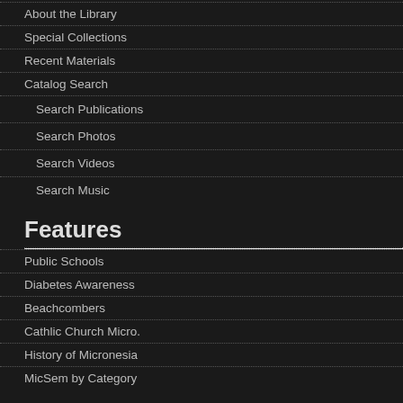About the Library
Special Collections
Recent Materials
Catalog Search
Search Publications
Search Photos
Search Videos
Search Music
Features
Public Schools
Diabetes Awareness
Beachcombers
Cathlic Church Micro.
History of Micronesia
MicSem by Category